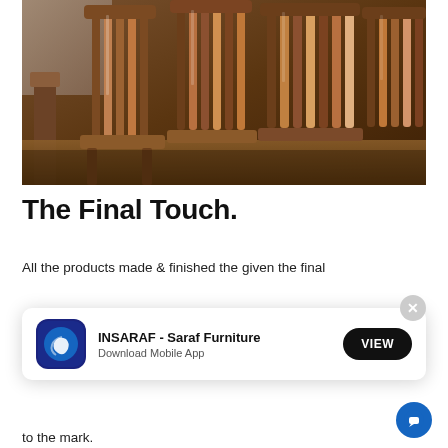[Figure (photo): Wooden dining chairs with slatted backs leaning against each other in a furniture workshop or showroom, brown stained wood finish]
The Final Touch.
All the products made & finished the given the final
[Figure (screenshot): Mobile app install banner for INSARAF - Saraf Furniture with a blue logo icon, text 'Download Mobile App', and a black VIEW button, with an X close button]
to the mark.